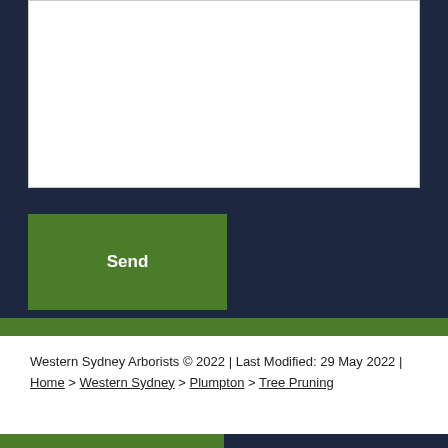[Figure (screenshot): A white textarea input box on a dark navy background]
Send
Western Sydney Arborists © 2022 | Last Modified: 29 May 2022 | Home > Western Sydney > Plumpton > Tree Pruning
CONTACT US
0480 024 330